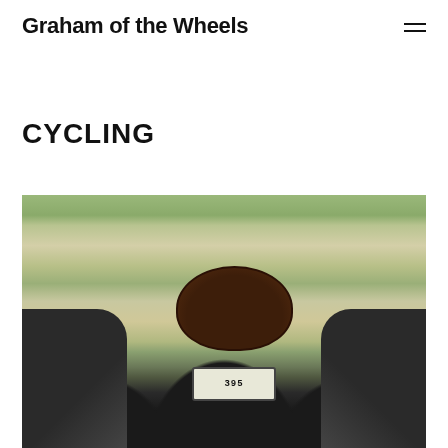Graham of the Wheels
CYCLING
[Figure (photo): A top-down view from a cyclist's perspective showing bicycle handlebars with a chocolate muffin or cookie placed on the bike computer/GPS unit displaying '395', with grassy ground visible below.]